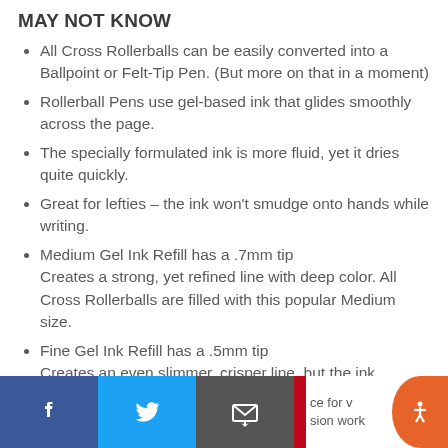MAY NOT KNOW
All Cross Rollerballs can be easily converted into a Ballpoint or Felt-Tip Pen. (But more on that in a moment)
Rollerball Pens use gel-based ink that glides smoothly across the page.
The specially formulated ink is more fluid, yet it dries quite quickly.
Great for lefties – the ink won't smudge onto hands while writing.
Medium Gel Ink Refill has a .7mm tip
Creates a strong, yet refined line with deep color. All Cross Rollerballs are filled with this popular Medium size.
Fine Gel Ink Refill has a .5mm tip
Creates an even slimmer, crisper line, but the ink [ce for v…sion work]